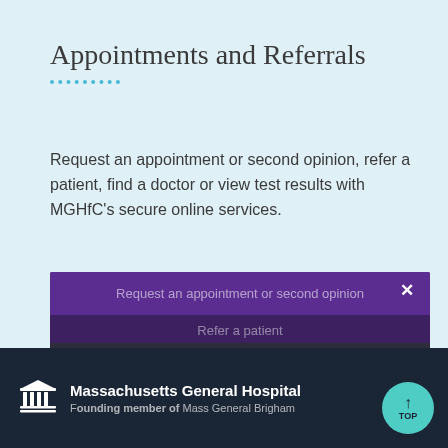Appointments and Referrals
Request an appointment or second opinion, refer a patient, find a doctor or view test results with MGHfC's secure online services.
We use cookies and other tools to enhance your experience on our website and to analyze our web traffic. For more information about these cookies and the data collected, please refer to our Privacy Policy.
Massachusetts General Hospital. A founding member of Mass General Brigham